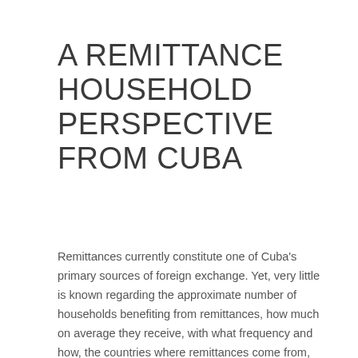A REMITTANCE HOUSEHOLD PERSPECTIVE FROM CUBA
Remittances currently constitute one of Cuba's primary sources of foreign exchange. Yet, very little is known regarding the approximate number of households benefiting from remittances, how much on average they receive, with what frequency and how, the countries where remittances come from, and how remittances are used. Some answers to these questions can be gleaned from the survey results.